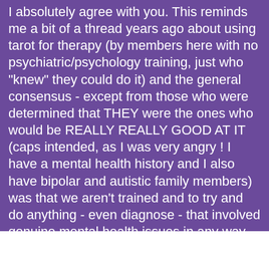I absolutely agree with you. This reminds me a bit of a thread years ago about using tarot for therapy (by members here with no psychiatric/psychology training, just who "knew" they could do it) and the general consensus - except from those who were determined that THEY were the ones who would be REALLY REALLY GOOD AT IT (caps intended, as I was very angry ! I have a mental health history and I also have bipolar and autistic family members) was that we aren't trained and to try and do anything - even diagnose - that involved genuine mental health issues in any way would be dangerous and would do our clients no good. I think that applies also to "detecting" their conditions. I think that not least because the bipolar family member was misdiagnosed by professionals for years. Good professionals who were very competent and who were doing their very best to help.